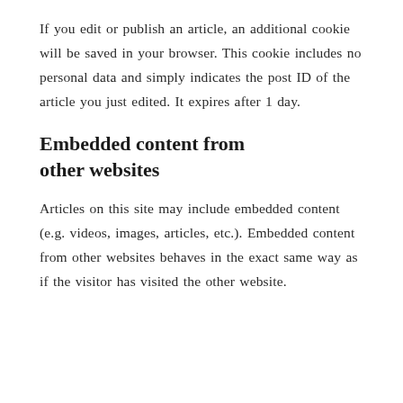If you edit or publish an article, an additional cookie will be saved in your browser. This cookie includes no personal data and simply indicates the post ID of the article you just edited. It expires after 1 day.
Embedded content from other websites
Articles on this site may include embedded content (e.g. videos, images, articles, etc.). Embedded content from other websites behaves in the exact same way as if the visitor has visited the other website.